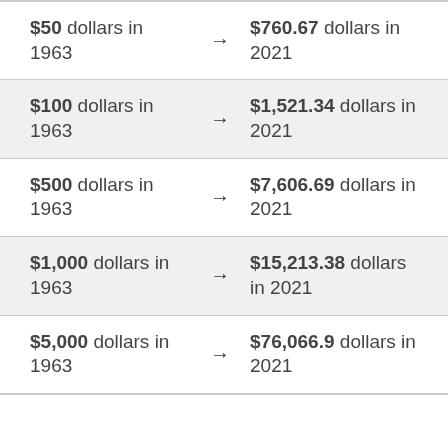| From |  | To |
| --- | --- | --- |
| $50 dollars in 1963 | → | $760.67 dollars in 2021 |
| $100 dollars in 1963 | → | $1,521.34 dollars in 2021 |
| $500 dollars in 1963 | → | $7,606.69 dollars in 2021 |
| $1,000 dollars in 1963 | → | $15,213.38 dollars in 2021 |
| $5,000 dollars in 1963 | → | $76,066.9 dollars in 2021 |